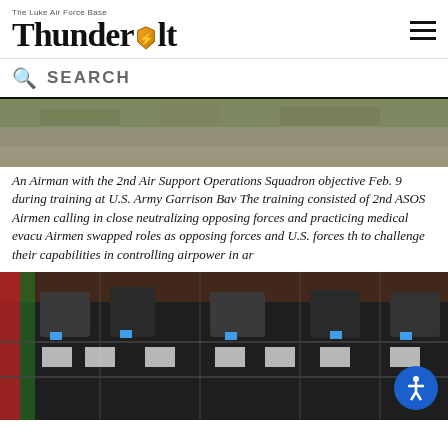Thunderbolt — The Luke Air Force Base newspaper logo with hamburger menu
SEARCH
[Figure (photo): Top portion of an outdoor photo showing grassy/rocky terrain, partially cropped]
An Airman with the 2nd Air Support Operations Squadron objective Feb. 9 during training at U.S. Army Garrison Bav The training consisted of 2nd ASOS Airmen calling in close neutralizing opposing forces and practicing medical evacu Airmen swapped roles as opposing forces and U.S. forces th to challenge their capabilities in controlling airpower in ar
[Figure (photo): Aerial/overhead view of military cargo aircraft interior showing soldiers and equipment in cargo hold, with accessibility button overlay]